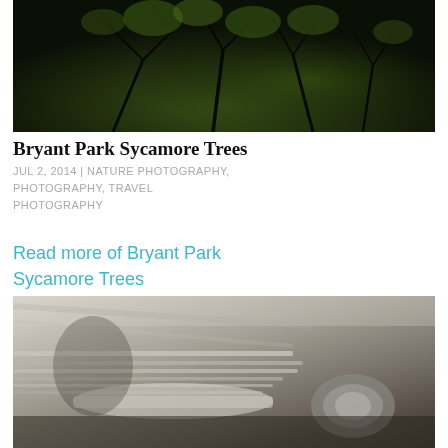[Figure (photo): Dark photograph of Bryant Park sycamore tree branches and foliage against a dark background]
Bryant Park Sycamore Trees
JUL 2, 2014 | NATURE PHOTOGRAPHY, PHOTOGRAPHY, TRAVEL PHOTOGRAPHY
Read more of Bryant Park Sycamore Trees
[Figure (photo): Close-up motion-blur photograph of a vintage car chrome grill and front end, black and white toned]